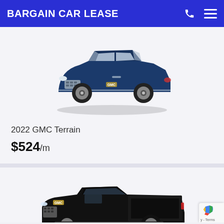BARGAIN CAR LEASE
[Figure (photo): 2022 GMC Terrain SUV in dark blue, side/front 3/4 view]
2022 GMC Terrain
$524/m
[Figure (photo): Black GMC Sierra pickup truck, side/front 3/4 view, partially visible at bottom of page]